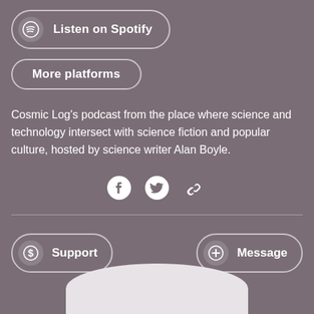[Figure (other): Listen on Spotify button with Spotify icon]
[Figure (other): More platforms button]
Cosmic Log's podcast from the place where science and technology intersect with science fiction and popular culture, hosted by science writer Alan Boyle.
[Figure (other): Social media icons: Facebook, Twitter, and link icons]
[Figure (other): Support button with dollar sign icon]
[Figure (other): Message button with plus icon]
[Figure (illustration): Partial circle/avatar at the bottom of the page]